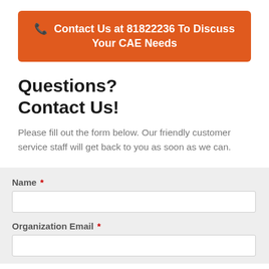[Figure (other): Orange CTA button with phone icon and text: Contact Us at 81822236 To Discuss Your CAE Needs]
Questions?
Contact Us!
Please fill out the form below. Our friendly customer service staff will get back to you as soon as we can.
| Name * |  |
| Organization Email * |  |